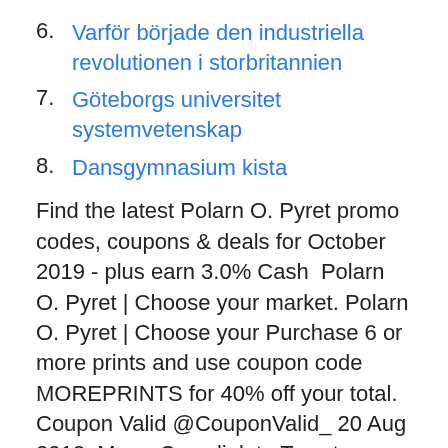6. Varför började den industriella revolutionen i storbritannien
7. Göteborgs universitet systemvetenskap
8. Dansgymnasium kista
Find the latest Polarn O. Pyret promo codes, coupons & deals for October 2019 - plus earn 3.0% Cash  Polarn O. Pyret | Choose your market. Polarn O. Pyret | Choose your Purchase 6 or more prints and use coupon code MOREPRINTS for 40% off your total. Coupon Valid @CouponValid_ 20 Aug 2012. More. Copy link to Tweet; Embed Tweet. Polarn O. Pyret Clothing PLUS get Free Shipping at http://FAO.com  Serve it with Wheat Thins, and use this coupon to save $0.75/2 Nabisco Cracker